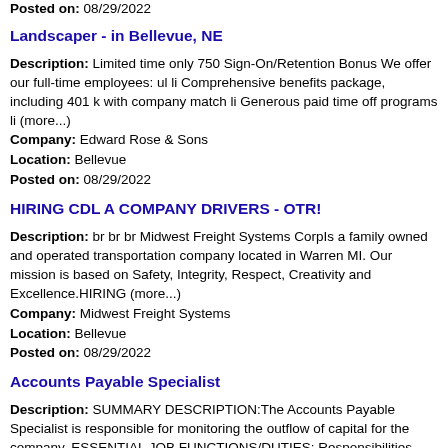Posted on: 08/29/2022
Landscaper - in Bellevue, NE
Description: Limited time only 750 Sign-On/Retention Bonus We offer our full-time employees: ul li Comprehensive benefits package, including 401 k with company match li Generous paid time off programs li (more...)
Company: Edward Rose & Sons
Location: Bellevue
Posted on: 08/29/2022
HIRING CDL A COMPANY DRIVERS - OTR!
Description: br br br Midwest Freight Systems CorpIs a family owned and operated transportation company located in Warren MI. Our mission is based on Safety, Integrity, Respect, Creativity and Excellence.HIRING (more...)
Company: Midwest Freight Systems
Location: Bellevue
Posted on: 08/29/2022
Accounts Payable Specialist
Description: SUMMARY DESCRIPTION:The Accounts Payable Specialist is responsible for monitoring the outflow of capital for the company. ESSENTIAL JOB FUNCTIONS/DUTIES: Responsibilities